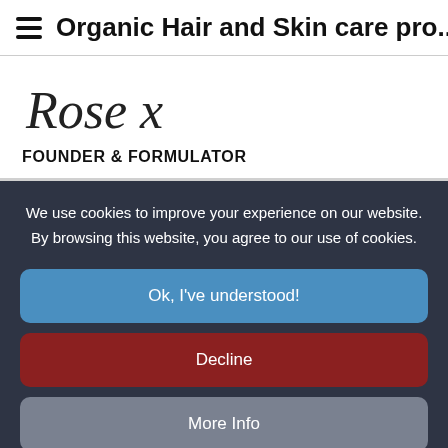Organic Hair and Skin care pro...
[Figure (illustration): Handwritten cursive signature reading 'Rose x']
FOUNDER & FORMULATOR
We use cookies to improve your experience on our website. By browsing this website, you agree to our use of cookies.
Ok, I've understood!
Decline
More Info